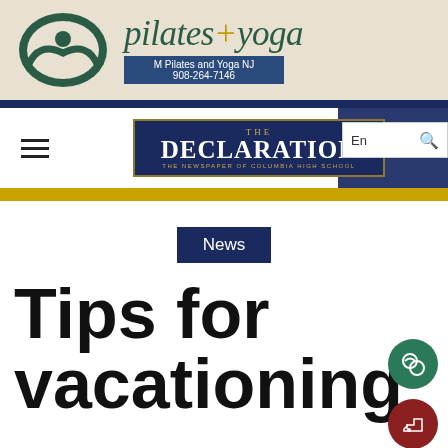[Figure (logo): M Pilates and Yoga NJ advertisement banner with logo, 'pilates+yoga' text, contact box showing '908-264-7146']
[Figure (logo): THE DECLARATION - The Newspaper of Columbia High School logo in navy box with gold border]
News
Tips for vacationing in 2021